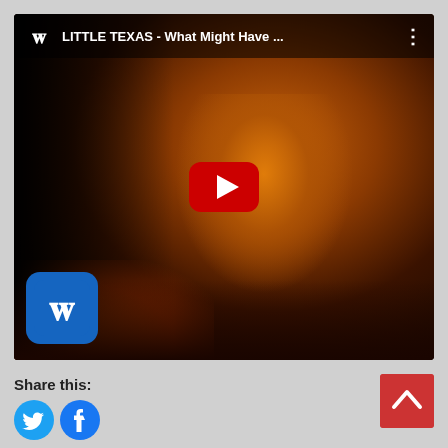[Figure (screenshot): YouTube video thumbnail for LITTLE TEXAS - What Might Have Been, showing a person's face illuminated by warm amber/orange light against a dark background, with a YouTube play button overlay and Warner Music logo in the top-left and bottom-left corners.]
Share this:
[Figure (logo): Twitter (bird) social share icon button - circular blue]
[Figure (logo): Facebook social share icon button - circular blue]
[Figure (other): Scroll-to-top button - red square with white upward chevron arrow]